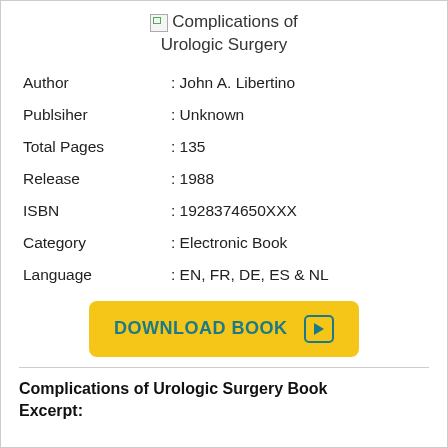[Figure (illustration): Broken image placeholder icon with text 'Complications of Urologic Surgery' as book cover thumbnail]
| Author | : John A. Libertino |
| Publsiher | : Unknown |
| Total Pages | : 135 |
| Release | : 1988 |
| ISBN | : 1928374650XXX |
| Category | : Electronic Book |
| Language | : EN, FR, DE, ES & NL |
[Figure (other): Yellow download button with text 'DOWNLOAD BOOK' and a play/arrow icon]
Complications of Urologic Surgery Book Excerpt: